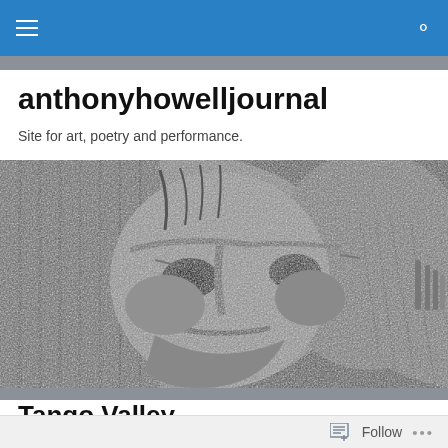anthonyhowelljournal — navigation bar with hamburger menu and search icon
anthonyhowelljournal
Site for art, poetry and performance.
[Figure (photo): Black and white close-up photograph of an ancient stone sculpture showing a face with detailed carved features, textured headdress, and prominent eyes.]
Tango Valley
Follow  •••